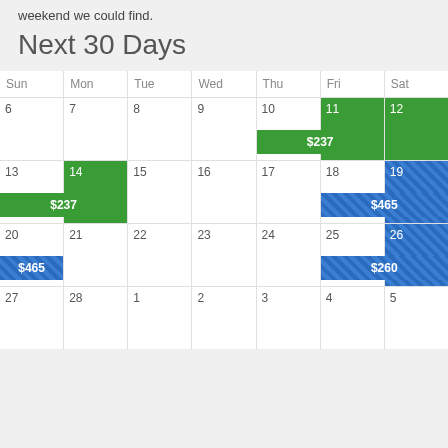weekend we could find.
Next 30 Days
| Sun | Mon | Tue | Wed | Thu | Fri | Sat |
| --- | --- | --- | --- | --- | --- | --- |
| 6 | 7 | 8 | 9 | 10 $237 | 11 $237 | 12 |
| 13 $237 | 14 | 15 | 16 | 17 | 18 $465 | 19 $465 |
| 20 $465 | 21 | 22 | 23 | 24 | 25 $260 | 26 $260 |
| 27 | 28 | 1 | 2 | 3 | 4 | 5 |